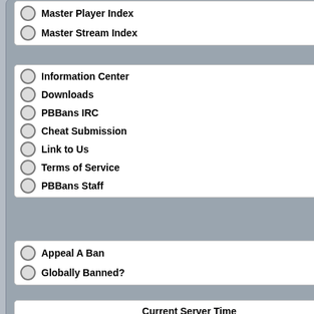Master Player Index
Master Stream Index
Information Center
Downloads
PBBans IRC
Cheat Submission
Link to Us
Terms of Service
PBBans Staff
Appeal A Ban
Globally Banned?
Current Server Time
August 22, 2022 4:44 pm
Logged in as
Not Logged In
Donations
Month: August, 2022
Donations: $100
Goal: $200
Make A Donation
IP A
Vid
You must
->PBSV:
Error
You mu
Accuracy